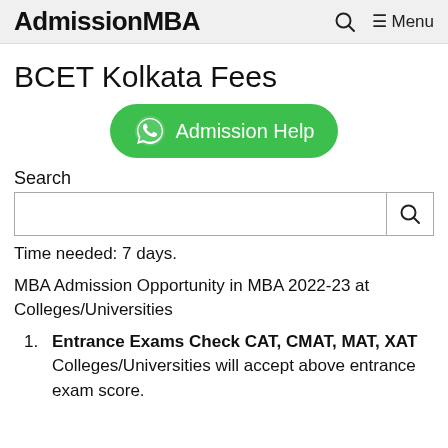AdmissionMBA  🔍  ≡ Menu
BCET Kolkata Fees
[Figure (other): Green WhatsApp-style button with text 'Admission Help']
Search
Time needed: 7 days.
MBA Admission Opportunity in MBA 2022-23 at Colleges/Universities
Entrance Exams Check CAT, CMAT, MAT, XAT Colleges/Universities will accept above entrance exam score.